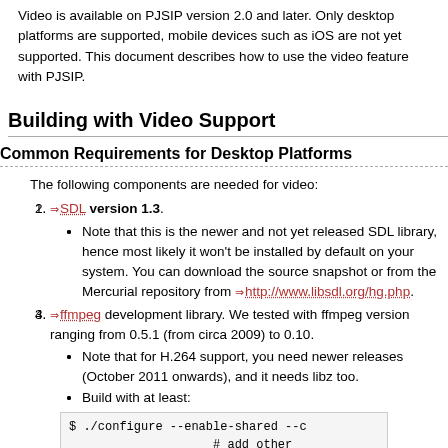Video is available on PJSIP version 2.0 and later. Only desktop platforms are supported, mobile devices such as iOS are not yet supported. This document describes how to use the video feature with PJSIP.
Building with Video Support
Common Requirements for Desktop Platforms
The following components are needed for video:
SDL version 1.3.
Note that this is the newer and not yet released SDL library, hence most likely it won't be installed by default on your system. You can download the source snapshot or from the Mercurial repository from http://www.libsdl.org/hg.php.
ffmpeg development library. We tested with ffmpeg version ranging from 0.5.1 (from circa 2009) to 0.10.
Note that for H.264 support, you need newer releases (October 2011 onwards), and it needs libz too.
Build with at least:
$ ./configure --enable-shared --c
                    # add other
                    # particulc